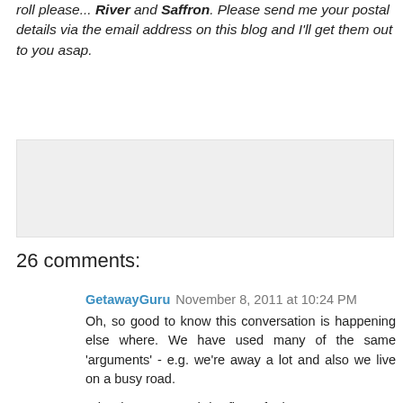roll please... River and Saffron. Please send me your postal details via the email address on this blog and I'll get them out to you asap.
[Figure (other): Gray placeholder/advertisement box]
26 comments:
GetawayGuru  November 8, 2011 at 10:24 PM
Oh, so good to know this conversation is happening else where. We have used many of the same 'arguments' - e.g. we're away a lot and also we live on a busy road.
What has stemmed the flow of 'please can we get a per' is the daily visits we are currently getting from our neighbours cat. She sits under our outdoor table, she meows at our door and she rolls over to be patted frequently.
I call her my claytons cat (the cat you have when you don't have a cat).